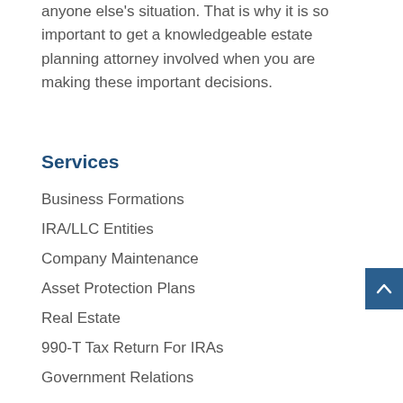anyone else's situation. That is why it is so important to get a knowledgeable estate planning attorney involved when you are making these important decisions.
Services
Business Formations
IRA/LLC Entities
Company Maintenance
Asset Protection Plans
Real Estate
990-T Tax Return For IRAs
Government Relations